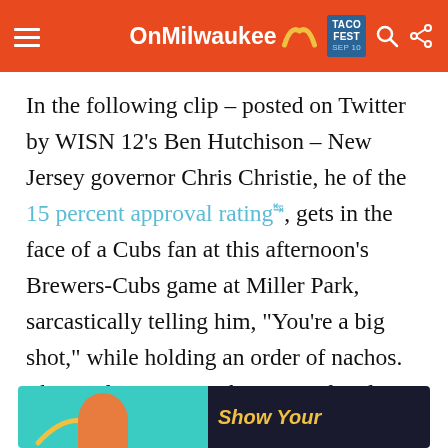OnMilwaukee | Taco Fest Sep 10
In the following clip – posted on Twitter by WISN 12's Ben Hutchison – New Jersey governor Chris Christie, he of the 15 percent approval rating, gets in the face of a Cubs fan at this afternoon's Brewers-Cubs game at Miller Park, sarcastically telling him, "You're a big shot," while holding an order of nachos. The confrontation is then immediately topped off by an alarmingly large crowd of Chicago fans loudly cheering on a game-deciding home run from Cubs first baseman Victor Caratini, who is currently battling an impressive .192.
[Figure (photo): Bottom strip showing a partial image with turquoise and dark background, text reads 'Show Your']